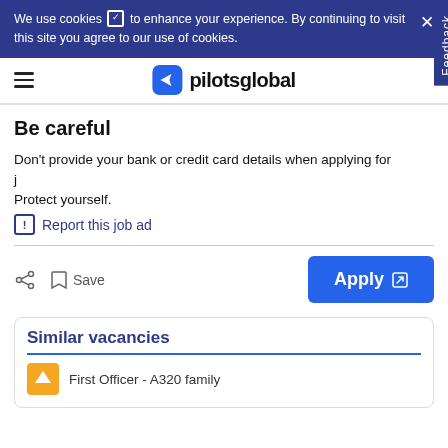We use cookies to enhance your experience. By continuing to visit this site you agree to our use of cookies.
[Figure (logo): pilotsglobal logo with blue plane icon and hamburger menu]
Be careful
Don't provide your bank or credit card details when applying for jobs. Protect yourself.
Report this job ad
Save
Apply
Similar vacancies
First Officer - A320 family